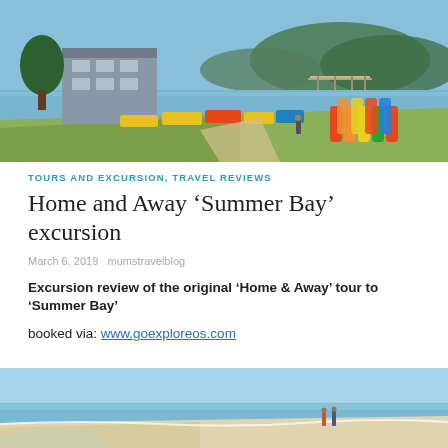[Figure (photo): Coastal scene with colourful kayaks and boats on trailers by a waterfront, a building on the left, pier and hills in the background, calm water and blue sky.]
TOURS AND EXCURSION, TRAVEL REVIEWS
Home and Away ‘Summer Bay’ excursion
March 6, 2019   mumstravelblog
Excursion review of the original ‘Home & Away’ tour to ‘Summer Bay’
booked via: www.goexploreos.com
[Figure (photo): Beach scene with two people walking on the shoreline, calm blue water and sandy beach.]